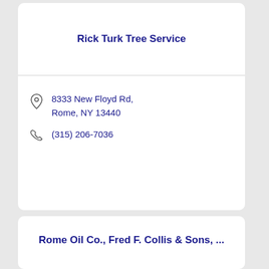Rick Turk Tree Service
8333 New Floyd Rd, Rome, NY 13440
(315) 206-7036
Rome Oil Co., Fred F. Collis & Sons, ...